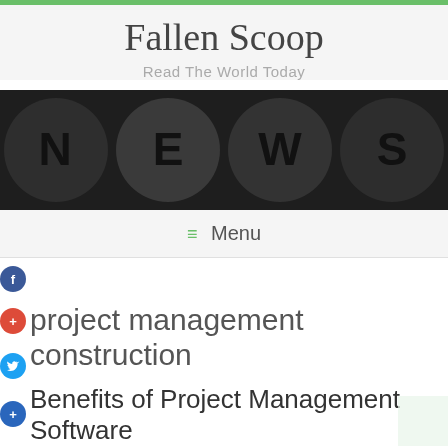Fallen Scoop
Read The World Today
[Figure (photo): Scrabble-style circular tiles spelling out NEWS on a dark background]
≡ Menu
project management construction
Benefits of Project Management Software